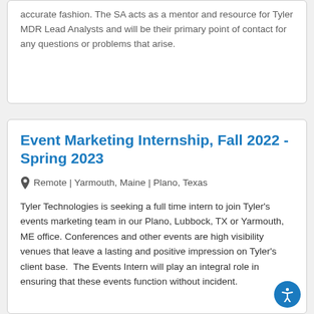accurate fashion. The SA acts as a mentor and resource for Tyler MDR Lead Analysts and will be their primary point of contact for any questions or problems that arise.
Event Marketing Internship, Fall 2022 - Spring 2023
Remote | Yarmouth, Maine | Plano, Texas
Tyler Technologies is seeking a full time intern to join Tyler's events marketing team in our Plano, Lubbock, TX or Yarmouth, ME office. Conferences and other events are high visibility venues that leave a lasting and positive impression on Tyler's client base. The Events Intern will play an integral role in ensuring that these events function without incident.